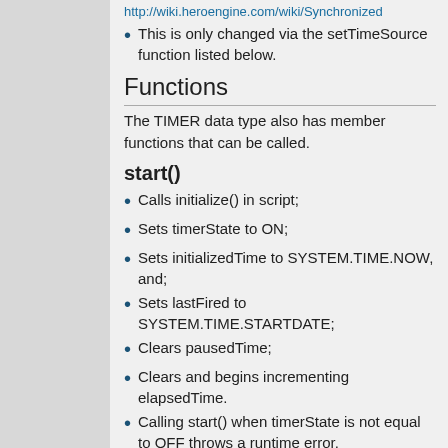http://wiki.heroengine.com/wiki/Synchronized
This is only changed via the setTimeSource function listed below.
Functions
The TIMER data type also has member functions that can be called.
start()
Calls initialize() in script;
Sets timerState to ON;
Sets initializedTime to SYSTEM.TIME.NOW, and;
Sets lastFired to SYSTEM.TIME.STARTDATE;
Clears pausedTime;
Clears and begins incrementing elapsedTime.
Calling start() when timerState is not equal to OFF throws a runtime error.
stop()
Sets timerState to OFF;